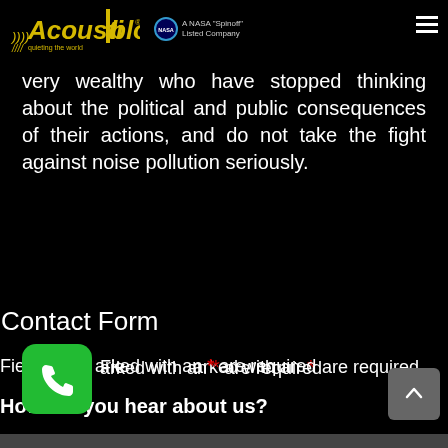Acoustiblok — quieting the world | A NASA Spinoff Listed Company
very wealthy who have stopped thinking about the political and public consequences of their actions, and do not take the fight against noise pollution seriously.
Contact Form
Fields marked with an * are required
How did you hear about us?